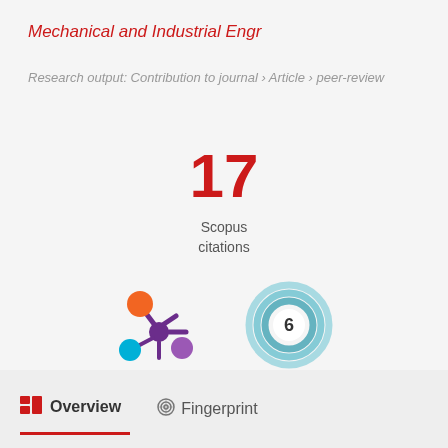Mechanical and Industrial Engr
Research output: Contribution to journal › Article › peer-review
17
Scopus citations
[Figure (other): Altmetric badge logo — colorful molecule-like icon with orange, cyan, and purple circles]
[Figure (other): Open citations donut badge showing the number 6 inside concentric teal rings]
Overview
Fingerprint